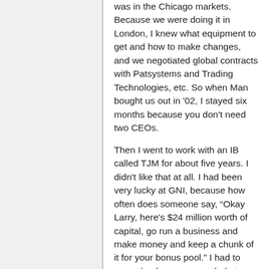was in the Chicago markets. Because we were doing it in London, I knew what equipment to get and how to make changes, and we negotiated global contracts with Patsystems and Trading Technologies, etc. So when Man bought us out in '02, I stayed six months because you don't need two CEOs.
Then I went to work with an IB called TJM for about five years. I didn't like that at all. I had been very lucky at GNI, because how often does someone say, “Okay Larry, here's $24 million worth of capital, go run a business and make money and keep a chunk of it for your bonus pool.” I had to report back once a month, but otherwise they left me alone to run the business. Twenty percent of the profits we made in Chicago I got to divide amongst me and my staff as a